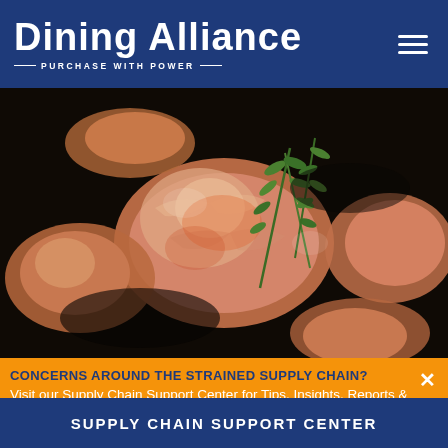Dining Alliance — PURCHASE WITH POWER
[Figure (photo): Close-up photo of raw lobster tails and shrimp with fresh thyme herb sprigs on a dark background]
CONCERNS AROUND THE STRAINED SUPPLY CHAIN? Visit our Supply Chain Support Center for Tips, Insights, Reports & more!
SUPPLY CHAIN SUPPORT CENTER